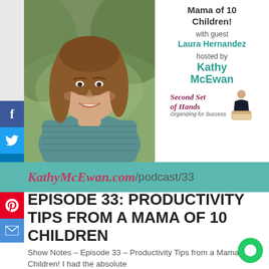[Figure (photo): Photo of Laura Hernandez, a smiling woman with brown hair wearing a striped teal top, outdoors with blurred green background]
Mama of 10 Children!
with guest
Laura Hernandez
hosted by
Kathy McEwan
[Figure (logo): Second Set of Hands - Organizing for Success logo with illustrated woman figure]
KathyMcEwan.com/podcast/33
EPISODE 33: PRODUCTIVITY TIPS FROM A MAMA OF 10 CHILDREN
Show Notes – Episode 33 – Productivity Tips from a Mama of 10 Children! I had the absolute